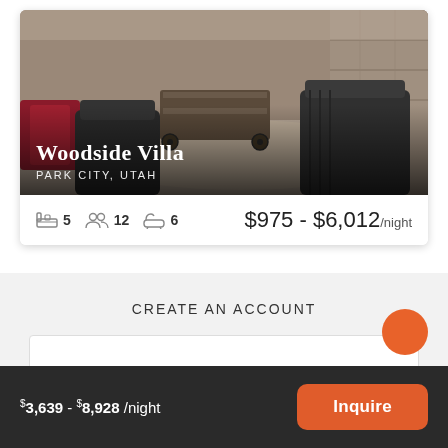[Figure (photo): Interior photo of a luxury villa living room with leather furniture, industrial coffee table on wheels, and stone wall. Text overlay shows property name and location.]
Woodside Villa
PARK CITY, UTAH
5  12  6  $975 - $6,012/night
CREATE AN ACCOUNT
$3,639 - $8,928 /night
Inquire